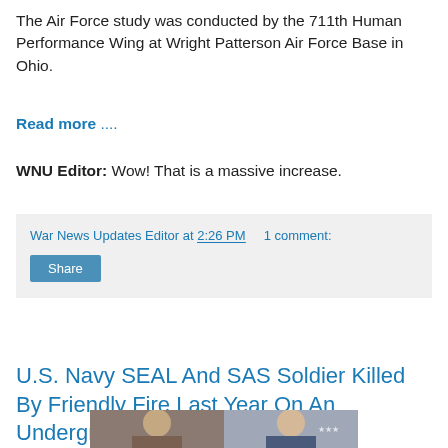The Air Force study was conducted by the 711th Human Performance Wing at Wright Patterson Air Force Base in Ohio.
Read more ....
WNU Editor: Wow! That is a massive increase.
War News Updates Editor at 2:26 PM    1 comment:
Share
U.S. Navy SEAL And SAS Soldier Killed By Friendly Fire Last Year On An Underground Mission In Syria
[Figure (photo): Two men shown side by side, one in casual clothing and one in military/official attire with an American flag background]